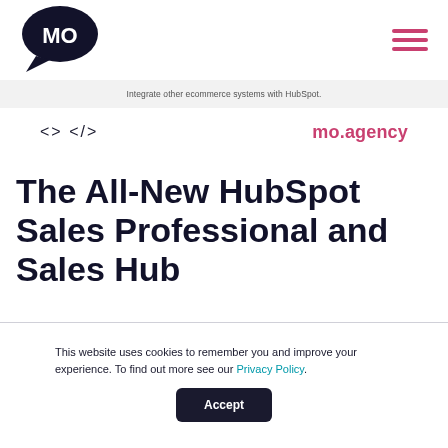MO Agency logo and navigation
Integrate other ecommerce systems with HubSpot.
<> </> mo.agency
The All-New HubSpot Sales Professional and Sales Hub
This website uses cookies to remember you and improve your experience. To find out more see our Privacy Policy.
Accept